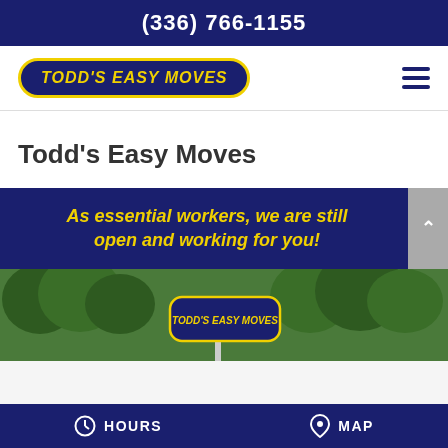(336) 766-1155
[Figure (logo): Todd's Easy Moves logo: dark navy oval with yellow border and yellow italic bold text reading TODD'S EASY MOVES]
Todd’s Easy Moves
As essential workers, we are still open and working for you!
[Figure (photo): Outdoor photo showing trees and a Todd's Easy Moves sign on a post]
HOURS   MAP